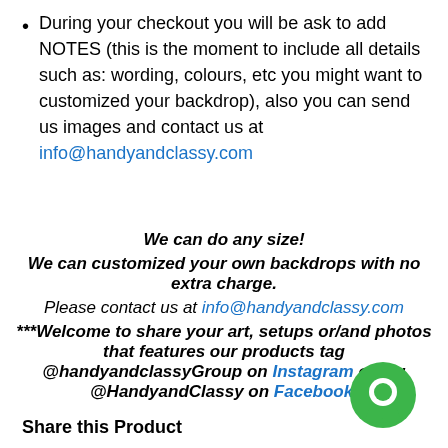During your checkout you will be ask to add NOTES (this is the moment to include all details such as: wording, colours, etc you might want to customized your backdrop), also you can send us images and contact us at info@handyandclassy.com
We can do any size!
We can customized your own backdrops with no extra charge.
Please contact us at info@handyandclassy.com
***Welcome to share your art, setups or/and photos that features our products tag @handyandclassyGroup on Instagram or tag @HandyandClassy on Facebook.
Share this Product